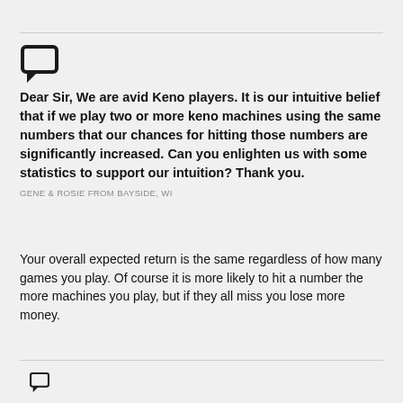[Figure (other): Chat/comment bubble icon (speech bubble outline)]
Dear Sir, We are avid Keno players. It is our intuitive belief that if we play two or more keno machines using the same numbers that our chances for hitting those numbers are significantly increased. Can you enlighten us with some statistics to support our intuition? Thank you.
GENE & ROSIE FROM BAYSIDE, WI
Your overall expected return is the same regardless of how many games you play. Of course it is more likely to hit a number the more machines you play, but if they all miss you lose more money.
[Figure (other): Chat/comment bubble icon (speech bubble outline) — partially visible at bottom]